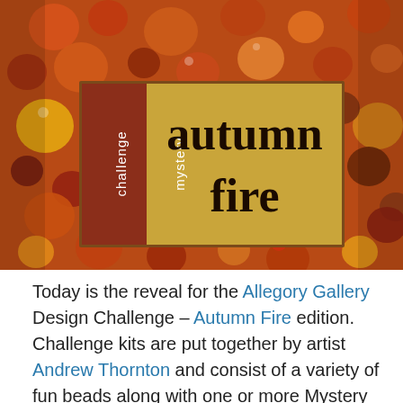[Figure (photo): Close-up photo of colorful autumn-toned beads in shades of orange, red, brown, yellow, and dark red, filling the entire background. Overlaid is a logo with two sections: left section is dark red/brown with white vertical text reading 'mystery challenge', right section is golden/mustard yellow with dark text reading 'autumn fire' in large serif font.]
Today is the reveal for the Allegory Gallery Design Challenge – Autumn Fire edition. Challenge kits are put together by artist Andrew Thornton and consist of a variety of fun beads along with one or more Mystery Components hand made by Andrew. Here is a picture of the kit.